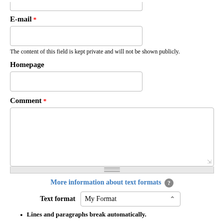E-mail *
The content of this field is kept private and will not be shown publicly.
Homepage
Comment *
More information about text formats
Text format  My Format
Lines and paragraphs break automatically.